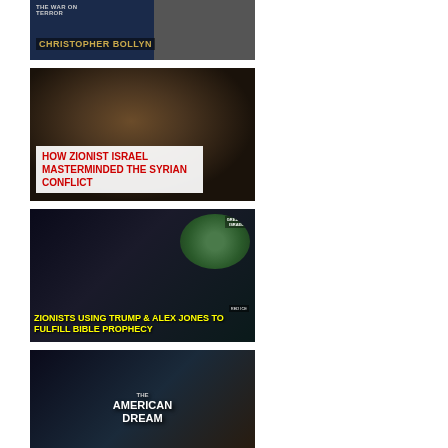[Figure (screenshot): Video thumbnail for Christopher Bollyn - The War on Terror, dark background with text overlay]
[Figure (screenshot): Video thumbnail: HOW ZIONIST ISRAEL MASTERMINDED THE SYRIAN CONFLICT - man with headphones in studio, red text on white bar]
[Figure (screenshot): Video thumbnail: ZIONISTS USING TRUMP & ALEX JONES TO FULFILL BIBLE PROPHECY - faces, globe with Greater Israel map, yellow text]
[Figure (screenshot): Video thumbnail: THE AMERICAN DREAM - eagle logo with city background]